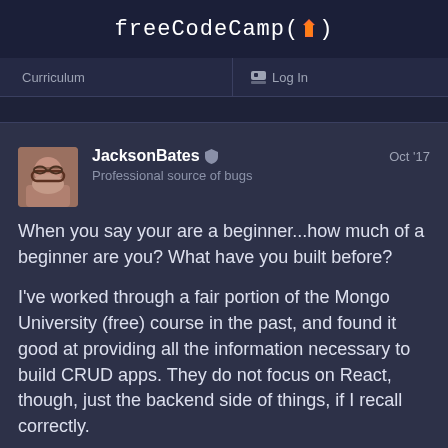freeCodeCamp(🔥)
Curriculum   Log In
JacksonBates 🛡  Professional source of bugs   Oct '17
When you say your are a beginner...how much of a beginner are you? What have you built before?
I've worked through a fair portion of the Mongo University (free) course in the past, and found it good at providing all the information necessary to build CRUD apps. They do not focus on React, though, just the backend side of things, if I recall correctly.
https://university.mongodb.com/courses/M101JS/about 36